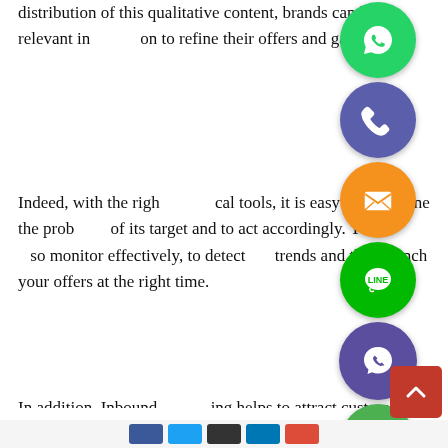distribution of this qualitative content, brands can have relevant information to refine their offers and gain notoriety.
[Figure (infographic): Column of social media app icons (WhatsApp, Phone/Viber blue, Email/Message orange, LINE, Viber purple, close/green X) overlapping the text content on the right side]
Indeed, with the right analytical tools, it is easy to determine the problems of its target and to act accordingly. You can also monitor effectively, to detect the trends and thus launch your offers at the right time.
In addition, Inbound Marketing helps to attract customers to more advanced content, which invites a registration form (newsletter, white paper, free trial, etc.). These people show an interest in your products, then you can build a highly qualified database for your prospecting.